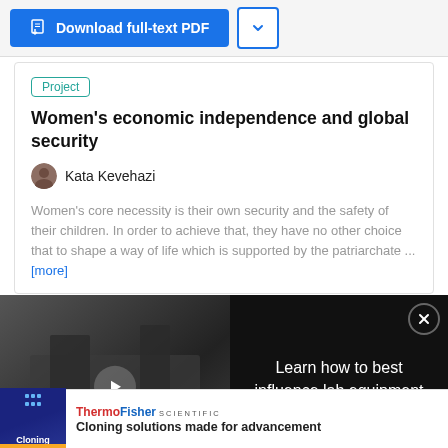[Figure (screenshot): Download full-text PDF button and dropdown button on top navigation bar]
Project
Women's economic independence and global security
Kata Kevehazi
Women's core necessity is their own security and the safety of their children. In order to achieve that, they have no other choice that to shape a way of life which is supported by the patriarchate ... [more]
[Figure (screenshot): Video overlay: Learn how to best influence lab equipment purchasing behavior - embedded video player with ThermoFisher Scientific branding]
[Figure (screenshot): ThermoFisher Scientific advertisement: Cloning solutions made for advancement]